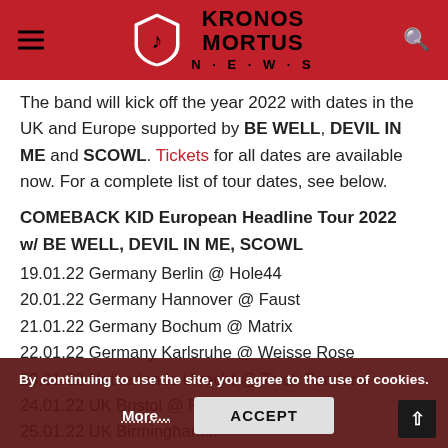Kronos Mortus News
The band will kick off the year 2022 with dates in the UK and Europe supported by BE WELL, DEVIL IN ME and SCOWL. Tickets for all dates are available now. For a complete list of tour dates, see below.
COMEBACK KID European Headline Tour 2022 w/ BE WELL, DEVIL IN ME, SCOWL
19.01.22 Germany Berlin @ Hole44
20.01.22 Germany Hannover @ Faust
21.01.22 Germany Bochum @ Matrix
22.01.22 Germany Karlsruhe @ Weisse Rose
23.01.22 Netherlands Utrecht @ Tivoli Pandora
24.01.22 UK Bristol @ Fleece
25.01.22 UK Birmingham (dimmed/obscured)
26.01.22 UK Leeds @ Key... (dimmed/obscured)
27.01.22 UK Manchester @ Rebellion
By continuing to use the site, you agree to the use of cookies.